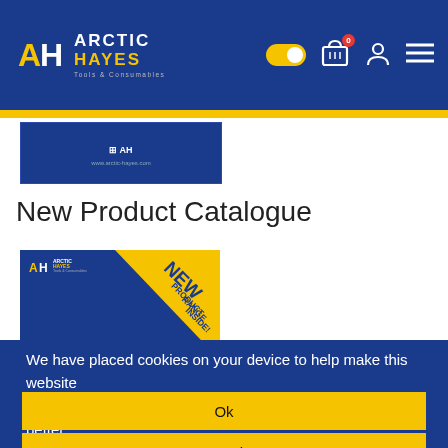[Figure (logo): Arctic Hayes Tools & Consumables logo with AH monogram in white and yellow on dark blue navbar]
[Figure (screenshot): Partial product catalogue cover image showing blue background with Arctic Hayes logo]
New Product Catalogue
[Figure (illustration): Arctic Hayes New Product Catalogue thumbnail showing blue background with yellow diagonal banner reading NEW PRODUCT RANGE INSIDE!]
We have placed cookies on your device to help make this website better.
Ok
Not Ok